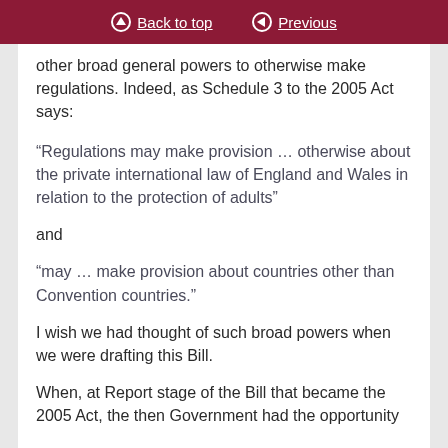Back to top  Previous
other broad general powers to otherwise make regulations. Indeed, as Schedule 3 to the 2005 Act says:
“Regulations may make provision … otherwise about the private international law of England and Wales in relation to the protection of adults”
and
“may … make provision about countries other than Convention countries.”
I wish we had thought of such broad powers when we were drafting this Bill.
When, at Report stage of the Bill that became the 2005 Act, the then Government had the opportunity